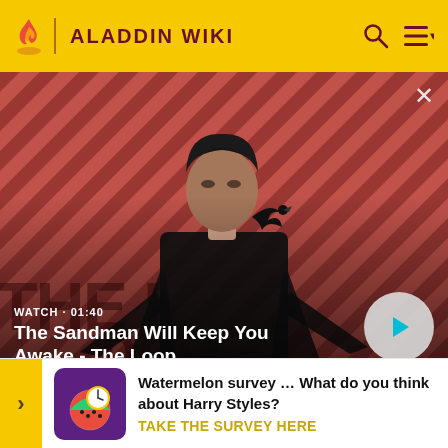ALADDIN WIKI
[Figure (screenshot): Video banner showing The Sandman character in dark coat with a crow on shoulder, against a red and dark diagonal striped background. Text overlay: WATCH · 01:40, The Sandman Will Keep You Awake - The Loop. Play button circle on right.]
explode at night during the view of palace.
In the animated version, Genie is saving "Made you
[Figure (infographic): Survey popup banner with purple/gold graphic icon, text: Watermelon survey … What do you think about Harry Styles? TAKE THE SURVEY HERE]